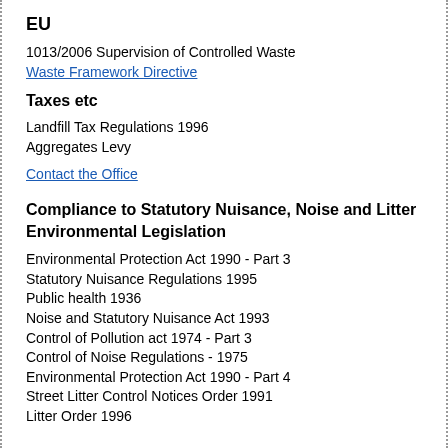EU
1013/2006 Supervision of Controlled Waste
Waste Framework Directive
Taxes etc
Landfill Tax Regulations 1996
Aggregates Levy
Contact the Office
Compliance to Statutory Nuisance, Noise and Litter Environmental Legislation
Environmental Protection Act 1990  - Part 3
Statutory Nuisance Regulations 1995
Public health 1936
Noise and Statutory Nuisance Act 1993
Control of Pollution act 1974 - Part 3
Control of Noise Regulations - 1975
Environmental Protection Act 1990 - Part 4
Street Litter Control Notices Order 1991
Litter Order 1996